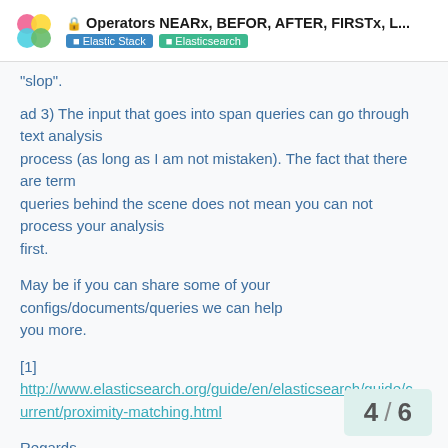Operators NEARx, BEFOR, AFTER, FIRSTx, L... | Elastic Stack | Elasticsearch
"slop".
ad 3) The input that goes into span queries can go through text analysis
process (as long as I am not mistaken). The fact that there are term
queries behind the scene does not mean you can not process your analysis
first.
May be if you can share some of your configs/documents/queries we can help you more.
[1]
http://www.elasticsearch.org/guide/en/elasticsearch/guide/current/proximity-matching.html
Regards,
Lukas
4 / 6